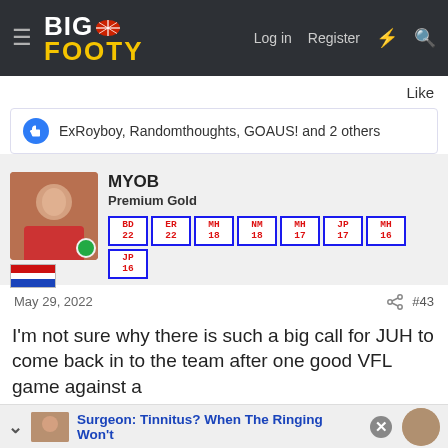BigFooty — Log in  Register
Like
👍 ExRoyboy, Randomthoughts, GOAUS! and 2 others
MYOB
Premium Gold
BD 22  ER 22  MH 18  NM 18  MH 17  JP 17  MH 16  JP 16
May 29, 2022  #43
I'm not sure why there is such a big call for JUH to come back in to the team after one good VFL game against a
Surgeon: Tinnitus? When The Ringing Won't